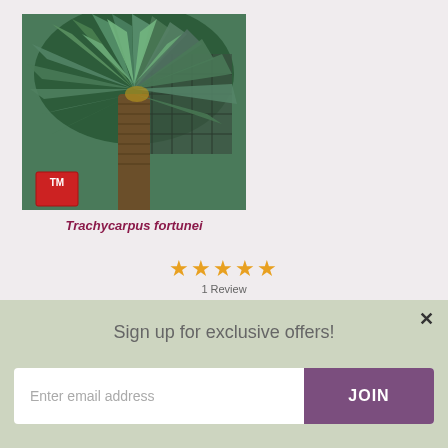[Figure (photo): Photo of Trachycarpus fortunei (Chusan palm / windmill palm) showing green fan-shaped palm fronds with a fibrous trunk, with a Thompson & Morgan seed company logo in the bottom-left corner]
Trachycarpus fortunei
[Figure (other): Five gold/orange star rating icons]
1 Review
Sign up for exclusive offers!
Enter email address
JOIN